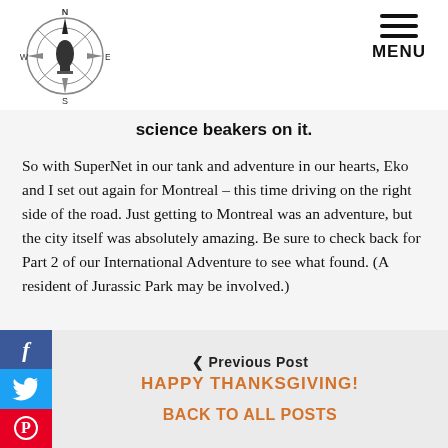[Figure (logo): Compass rose logo with N/S/E/W markers and a central figure]
MENU
science beakers on it.
So with SuperNet in our tank and adventure in our hearts, Eko and I set out again for Montreal – this time driving on the right side of the road.  Just getting to Montreal was an adventure, but the city itself was absolutely amazing.  Be sure to check back for Part 2 of our International Adventure to see what found.  (A resident of Jurassic Park may be involved.)
< Previous Post
HAPPY THANKSGIVING!
BACK TO ALL POSTS